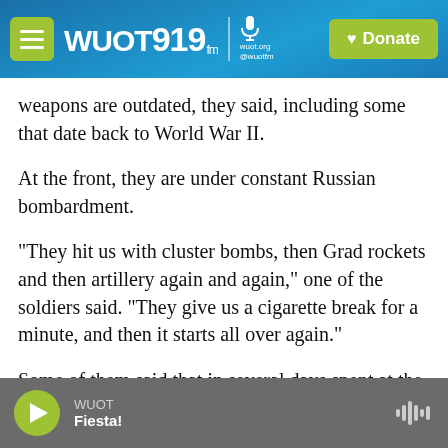WUOT 91.9 FM | wuot.org | @wuotfm | Donate
weapons are outdated, they said, including some that date back to World War II.
At the front, they are under constant Russian bombardment.
"They hit us with cluster bombs, then Grad rockets and then artillery again and again," one of the soldiers said. "They give us a cigarette break for a minute, and then it starts all over again."
Some of them said that in several days spent at the front, they didn't shoot their guns once. All they did
WUOT | Fiesta!